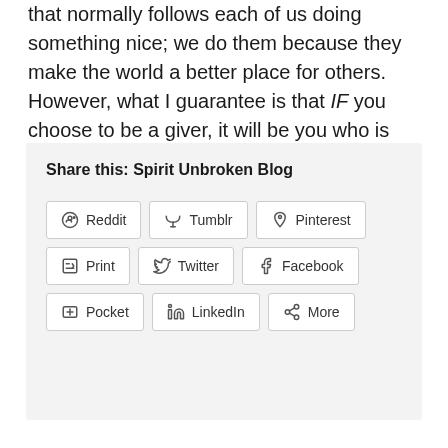that normally follows each of us doing something nice; we do them because they make the world a better place for others. However, what I guarantee is that IF you choose to be a giver, it will be you who is receiving the greatest gift.  I give you my word.
Share this: Spirit Unbroken Blog
Reddit
Tumblr
Pinterest
Print
Twitter
Facebook
Pocket
LinkedIn
More